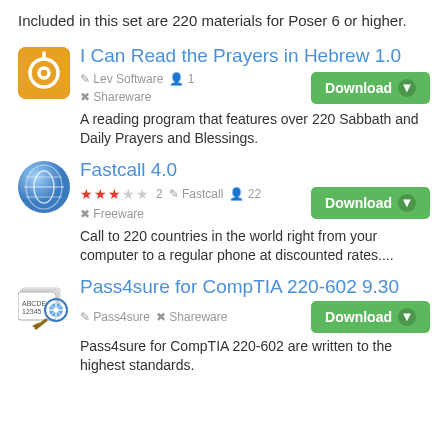Included in this set are 220 materials for Poser 6 or higher.
I Can Read the Prayers in Hebrew 1.0
Lev Software  1  Shareware
A reading program that features over 220 Sabbath and Daily Prayers and Blessings.
Fastcall 4.0
★★★☆☆ 2  Fastcall  22  Freeware
Call to 220 countries in the world right from your computer to a regular phone at discounted rates....
Pass4sure for CompTIA 220-602 9.30
Pass4sure  Shareware
Pass4sure for CompTIA 220-602 are written to the highest standards.